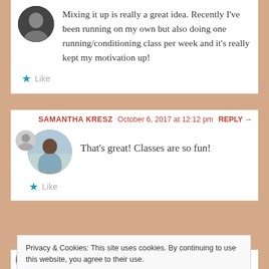Mixing it up is really a great idea. Recently I've been running on my own but also doing one running/conditioning class per week and it's really kept my motivation up!
Like
SAMANTHA KRESZ  October 6, 2017 at 12:12 pm  REPLY →
That's great! Classes are so fun!
Like
Privacy & Cookies: This site uses cookies. By continuing to use this website, you agree to their use. To find out more, including how to control cookies, see here: Cookie Policy
Close and accept
will always be reasons to be busy. Now I put it in